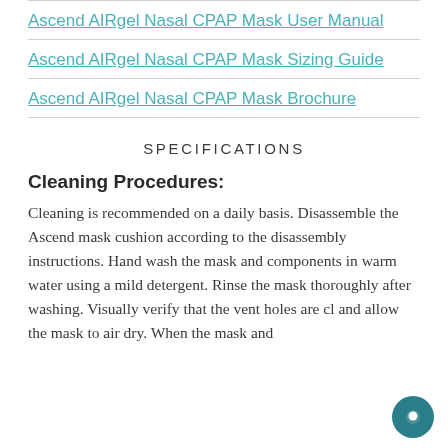Ascend AIRgel Nasal CPAP Mask User Manual
Ascend AIRgel Nasal CPAP Mask Sizing Guide
Ascend AIRgel Nasal CPAP Mask Brochure
SPECIFICATIONS
Cleaning Procedures:
Cleaning is recommended on a daily basis. Disassemble the Ascend mask cushion according to the disassembly instructions. Hand wash the mask and components in warm water using a mild detergent. Rinse the mask thoroughly after washing. Visually verify that the vent holes are cl and allow the mask to air dry. When the mask and